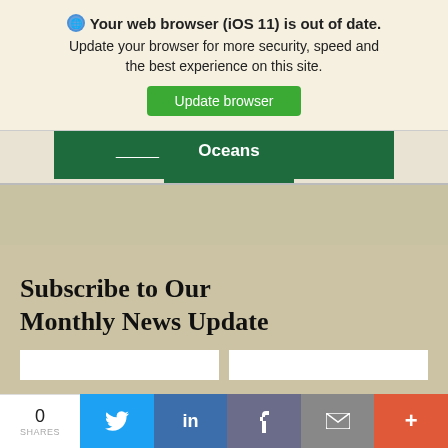Your web browser (iOS 11) is out of date. Update your browser for more security, speed and the best experience on this site.
Update browser
[Figure (screenshot): Navigation bar showing 'Oceans' tab selected in dark green with dropdown arrow indicator]
Subscribe to Our Monthly News Update
[Figure (screenshot): Social share bar with count 0 SHARES, Twitter, LinkedIn, Facebook, Email, and More buttons]